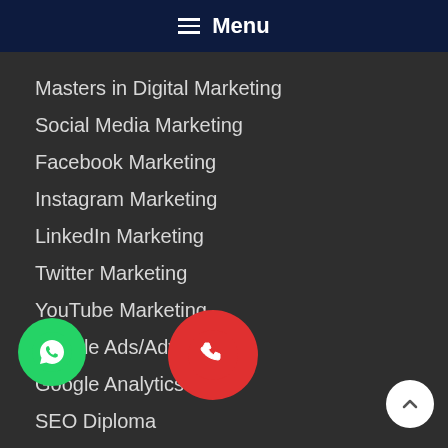Menu
Masters in Digital Marketing
Social Media Marketing
Facebook Marketing
Instagram Marketing
LinkedIn Marketing
Twitter Marketing
YouTube Marketing
Google Ads/Adwords
Google Analytics
SEO Diploma
Email Marketing
Digital Marketing Course in India
Digital Marketing Course in Mumbai
Digital Marketing Course in
Digital Marketing Course in Dombivli
[Figure (illustration): WhatsApp floating action button (green circle with phone handset icon)]
[Figure (illustration): Phone call floating action button (red circle with phone handset icon)]
[Figure (illustration): Scroll-to-top floating action button (white circle with upward chevron)]